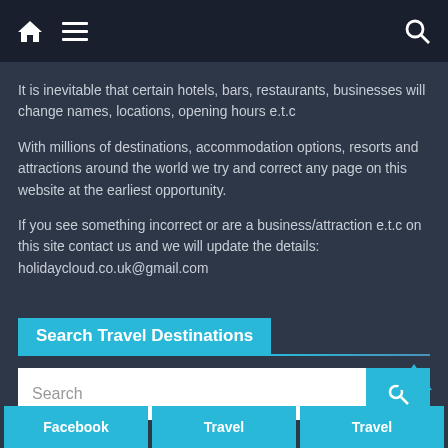[Navigation bar with home icon, menu icon, search icon]
It is inevitable that certain hotels, bars, restaurants, businesses will change names, locations, opening hours e.t.c
With millions of destinations, accommodation options, resorts and attractions around the world we try and correct any page on this website at the earliest opportunity.
If you see something incorrect or are a business/attraction e.t.c on this site contact us and we will update the details: holidaycloud.co.uk@gmail.com
Search Travel Destinations
Search
Facebook
Travel
Travel